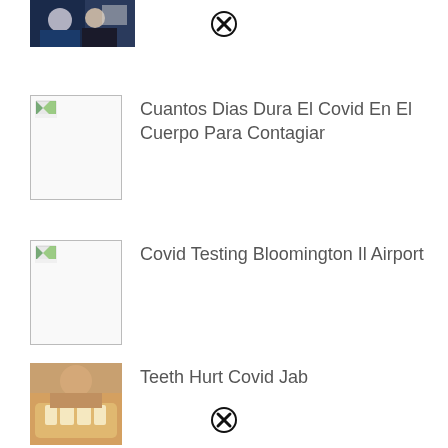[Figure (photo): Photo of medical workers in scrubs and masks]
[Figure (other): Close/dismiss button (X circle) at top]
[Figure (other): Broken image placeholder thumbnail]
Cuantos Dias Dura El Covid En El Cuerpo Para Contagiar
[Figure (other): Broken image placeholder thumbnail]
Covid Testing Bloomington Il Airport
[Figure (photo): Photo of person showing teeth/mouth wide open]
Teeth Hurt Covid Jab
[Figure (other): Close/dismiss button (X circle) at bottom]